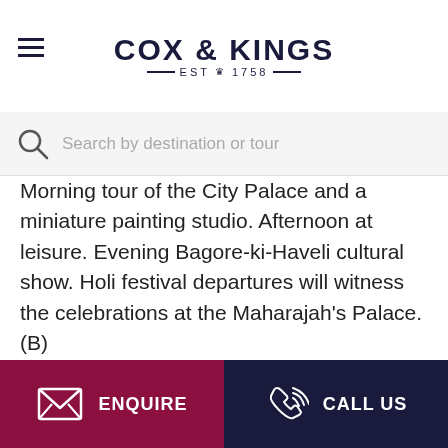COX & KINGS — EST 1758 —
[Figure (screenshot): Search bar with magnifying glass icon and placeholder text 'Search by destination or tour']
Morning tour of the City Palace and a miniature painting studio. Afternoon at leisure. Evening Bagore-ki-Haveli cultural show. Holi festival departures will witness the celebrations at the Maharajah's Palace. (B)
Day 16: Fly to Delhi
Transfer to the airport and fly to Delhi for an overnight stay at the Andaz Aerocity. (B)
ENQUIRE  CALL US